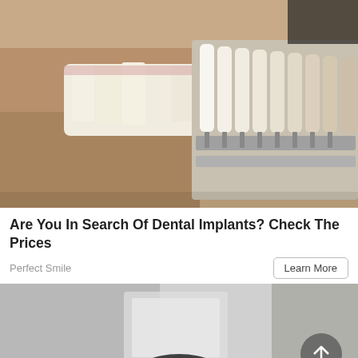[Figure (photo): Close-up photo of a man smiling with white teeth while a dental shade guide (tooth color samples on a metal rack) is held up next to his teeth for comparison. The dental shade guide shows multiple tooth-shaped porcelain samples arranged in a row.]
Are You In Search Of Dental Implants? Check The Prices
Perfect Smile
[Figure (photo): Partial view of a second advertisement image showing a black and white or muted photo, partially visible at the bottom of the page. A circular scroll-to-top button with an upward arrow is overlaid in the bottom-right corner.]